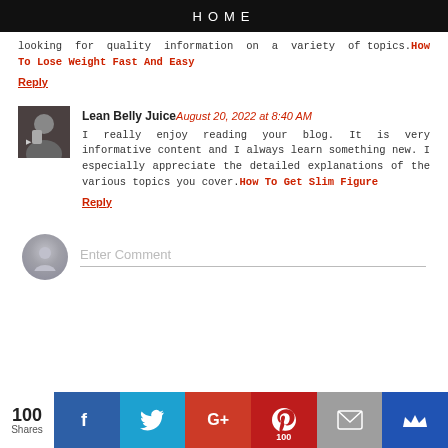HOME
looking for quality information on a variety of topics. How To Lose Weight Fast And Easy
Reply
Lean Belly Juice August 20, 2022 at 8:40 AM
I really enjoy reading your blog. It is very informative content and I always learn something new. I especially appreciate the detailed explanations of the various topics you cover. How To Get Slim Figure
Reply
Enter Comment
[Figure (infographic): Social share bar with 100 Shares count and buttons for Facebook, Twitter, Google+, Pinterest (100), Email, and a crown icon button]